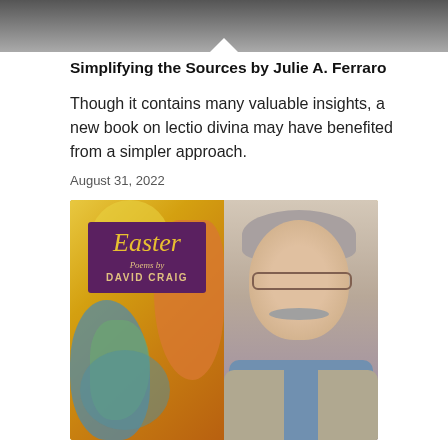[Figure (photo): Grayscale photo at top of page, partially visible, with a white downward-pointing triangle/arrow at the bottom center]
Simplifying the Sources by Julie A. Ferraro
Though it contains many valuable insights, a new book on lectio divina may have benefited from a simpler approach.
August 31, 2022
[Figure (photo): Side-by-side image: on the left is a book cover for 'Easter: Poems by David Craig' with a purple label over an abstract colorful painting background; on the right is a portrait photo of a middle-aged man with gray hair, glasses, a mustache, wearing a light blue shirt and tan blazer, smiling.]